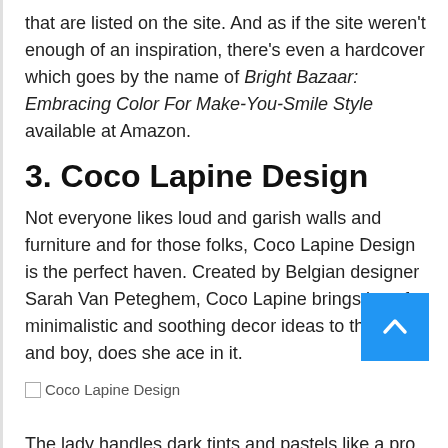that are listed on the site. And as if the site weren't enough of an inspiration, there's even a hardcover which goes by the name of Bright Bazaar: Embracing Color For Make-You-Smile Style available at Amazon.
3. Coco Lapine Design
Not everyone likes loud and garish walls and furniture and for those folks, Coco Lapine Design is the perfect haven. Created by Belgian designer Sarah Van Peteghem, Coco Lapine brings in soft, minimalistic and soothing decor ideas to the foyer and boy, does she ace in it.
[Figure (photo): Broken image placeholder labeled 'Coco Lapine Design' with a back-to-top button (blue square with white chevron/arrow) in the bottom right]
The lady handles dark tints and pastels like a pro